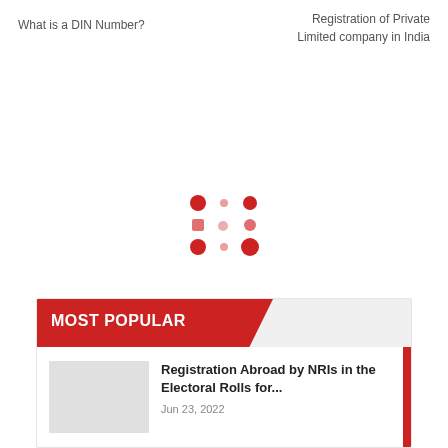What is a DIN Number?
Registration of Private Limited company in India
[Figure (other): Loading spinner animation: a 3x3 grid of dots in red and pink/light red colors, some larger and some smaller, indicating a loading state.]
MOST POPULAR
Registration Abroad by NRIs in the Electoral Rolls for...
Jun 23, 2022